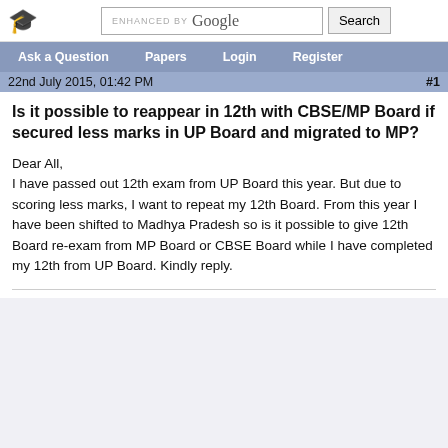ENHANCED BY Google | Search
Ask a Question | Papers | Login | Register
22nd July 2015, 01:42 PM  #1
Is it possible to reappear in 12th with CBSE/MP Board if secured less marks in UP Board and migrated to MP?
Dear All,
I have passed out 12th exam from UP Board this year. But due to scoring less marks, I want to repeat my 12th Board. From this year I have been shifted to Madhya Pradesh so is it possible to give 12th Board re-exam from MP Board or CBSE Board while I have completed my 12th from UP Board. Kindly reply.